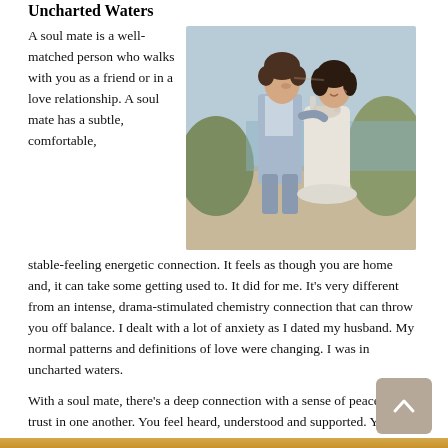Uncharted Waters
A soul mate is a well-matched person who walks with you as a friend or in a love relationship. A soul mate has a subtle, comfortable,
[Figure (photo): A couple walking together outdoors near a beach, man in light blue suit, woman in white dress, leaning toward each other affectionately.]
stable-feeling energetic connection. It feels as though you are home and, it can take some getting used to. It did for me. It’s very different from an intense, drama-stimulated chemistry connection that can throw you off balance. I dealt with a lot of anxiety as I dated my husband. My normal patterns and definitions of love were changing. I was in uncharted waters.
With a soul mate, there’s a deep connection with a sense of peace and trust in one another. You feel heard, understood and supported. You